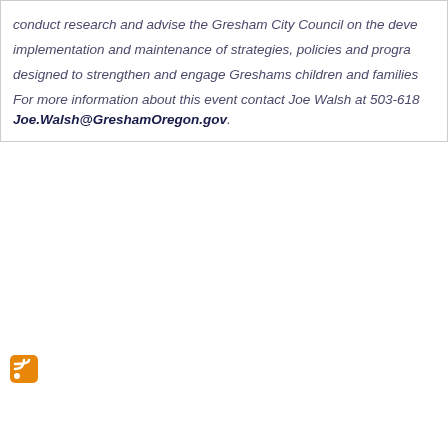conduct research and advise the Gresham City Council on the development, implementation and maintenance of strategies, policies and programs designed to strengthen and engage Greshams children and families. For more information about this event contact Joe Walsh at 503-618-... Joe.Walsh@GreshamOregon.gov.
[Figure (other): RSS feed orange icon]